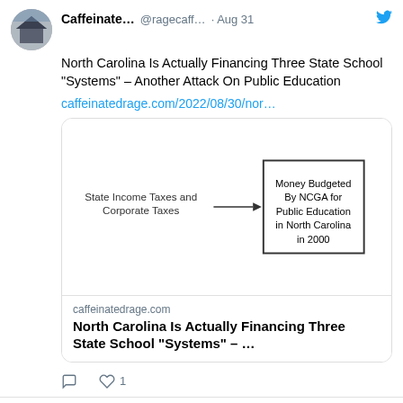[Figure (screenshot): Twitter/social media feed screenshot showing two tweets from @ragecaff... (Caffeinate...). First tweet dated Aug 31 about North Carolina financing three state school systems with a link preview card containing a flowchart diagram. Second tweet dated Aug 30 about LEANDRO Hearing.]
North Carolina Is Actually Financing Three State School “Systems” – Another Attack On Public Education
caffeinatedrage.com/2022/08/30/nor…
[Figure (flowchart): Simple flowchart showing 'State Income Taxes and Corporate Taxes' with an arrow pointing right to a box labeled 'Money Budgeted By NCGA for Public Education in North Carolina in 2000']
caffeinatedrage.com
North Carolina Is Actually Financing Three State School “Systems” – …
Two Days Until LEANDRO Hearing: A Look